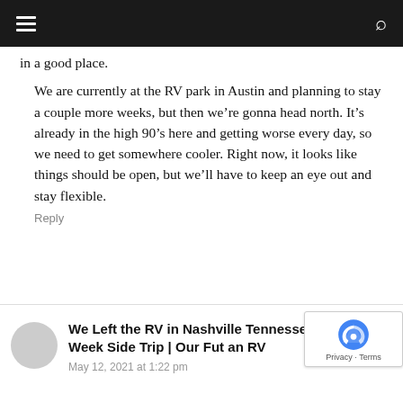[hamburger menu] [search icon]
in a good place.
We are currently at the RV park in Austin and planning to stay a couple more weeks, but then we’re gonna head north. It’s already in the high 90’s here and getting worse every day, so we need to get somewhere cooler. Right now, it looks like things should be open, but we’ll have to keep an eye out and stay flexible.
Reply
We Left the RV in Nashville Tennessee Take a Two Week Side Trip | Our Future an RV
May 12, 2021 at 1:22 pm